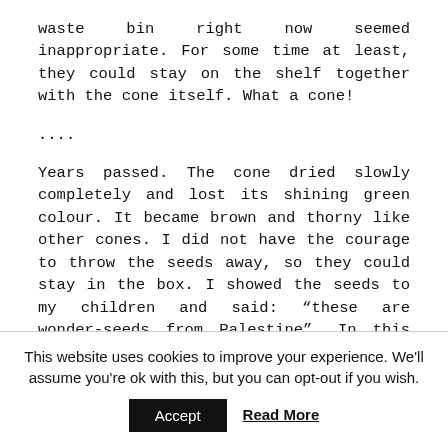waste bin right now seemed inappropriate. For some time at least, they could stay on the shelf together with the cone itself. What a cone!
....
Years passed. The cone dried slowly completely and lost its shining green colour. It became brown and thorny like other cones. I did not have the courage to throw the seeds away, so they could stay in the box. I showed the seeds to my children and said: “these are wonder-seeds from Palestine”. In this way, the cone moved with me and my family to the USA and lived there in a dark drawer for years. When I moved with my family back to Finland almost a decade later, the cone and its seeds joined us of course. And, once again
This website uses cookies to improve your experience. We'll assume you're ok with this, but you can opt-out if you wish.
Accept
Read More